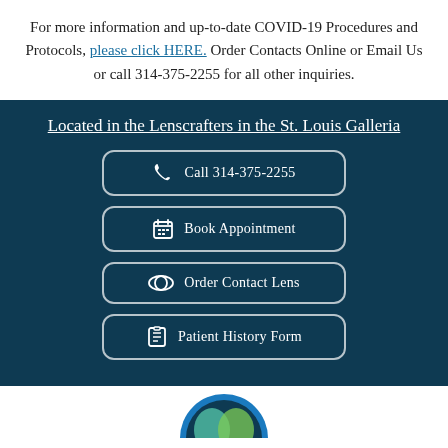For more information and up-to-date COVID-19 Procedures and Protocols, please click HERE. Order Contacts Online or Email Us or call 314-375-2255 for all other inquiries.
Located in the Lenscrafters in the St. Louis Galleria
Call 314-375-2255
Book Appointment
Order Contact Lens
Patient History Form
[Figure (logo): Circular logo partially visible at bottom of page]